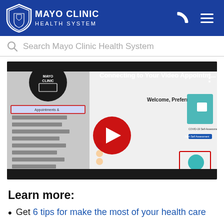MAYO CLINIC HEALTH SYSTEM
Search Mayo Clinic Health System
[Figure (screenshot): YouTube video thumbnail titled 'Connecting to Your Video Appointm...' showing a Mayo Clinic patient portal interface with appointments, test results, and a COVID-19 self-assessment section. A large red YouTube play button is centered over the screenshot.]
Learn more:
Get 6 tips for make the most of your health care